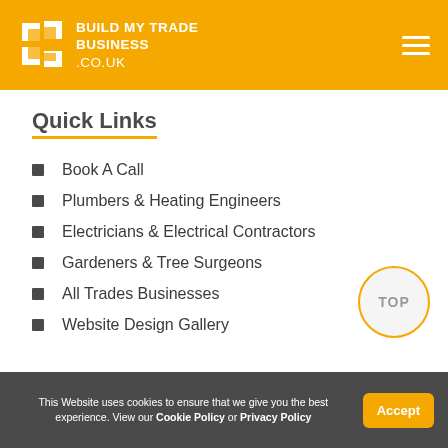BUILD MY TRADE BUSINESS.CO.UK
Quick Links
Book A Call
Plumbers & Heating Engineers
Electricians & Electrical Contractors
Gardeners & Tree Surgeons
All Trades Businesses
Website Design Gallery
This Website uses cookies to ensure that we give you the best experience. View our Cookie Policy or Privacy Policy  Accept